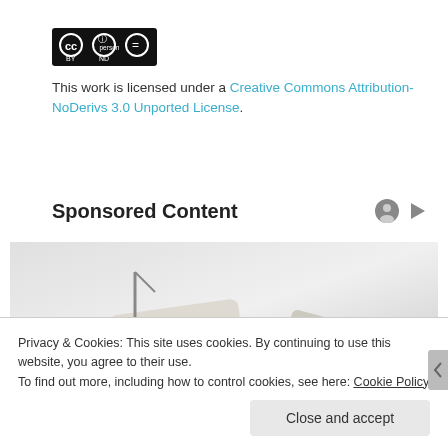[Figure (logo): Creative Commons CC BY ND license logo — black rectangle with CC, person, and equals-sign icons, labeled BY ND]
This work is licensed under a Creative Commons Attribution-NoDerivs 3.0 Unported License.
Sponsored Content
[Figure (photo): Advertisement image showing a recliner chair / furniture product on a light gray gradient background]
Privacy & Cookies: This site uses cookies. By continuing to use this website, you agree to their use.
To find out more, including how to control cookies, see here: Cookie Policy